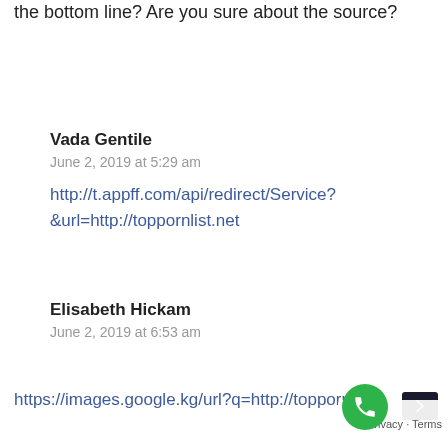the bottom line? Are you sure about the source?
Vada Gentile
June 2, 2019 at 5:29 am
http://t.appff.com/api/redirect/Service?&url=http://toppornlist.net
Elisabeth Hickam
June 2, 2019 at 6:53 am
https://images.google.kg/url?q=http://toppornl…